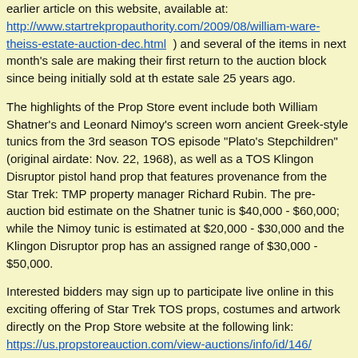earlier article on this website, available at: http://www.startrekpropauthority.com/2009/08/william-ware-theiss-estate-auction-dec.html ) and several of the items in next month's sale are making their first return to the auction block since being initially sold at the estate sale 25 years ago.
The highlights of the Prop Store event include both William Shatner's and Leonard Nimoy's screen worn ancient Greek-style tunics from the 3rd season TOS episode "Plato's Stepchildren" (original airdate: Nov. 22, 1968), as well as a TOS Klingon Disruptor pistol hand prop that features provenance from the Star Trek: TMP property manager Richard Rubin. The pre-auction bid estimate on the Shatner tunic is $40,000 - $60,000; while the Nimoy tunic is estimated at $20,000 - $30,000 and the Klingon Disruptor prop has an assigned range of $30,000 - $50,000.
Interested bidders may sign up to participate live online in this exciting offering of Star Trek TOS props, costumes and artwork directly on the Prop Store website at the following link: https://us.propstoreauction.com/view-auctions/info/id/146/
Presented below are the original online auction catalog photos and descriptions for some selected lots of TOS memorabilia to be sold during this event ...